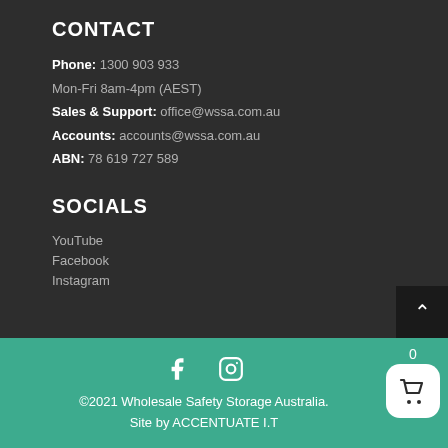CONTACT
Phone: 1300 903 933
Mon-Fri 8am-4pm (AEST)
Sales & Support: office@wssa.com.au
Accounts: accounts@wssa.com.au
ABN: 78 619 727 589
SOCIALS
YouTube
Facebook
Instagram
©2021 Wholesale Safety Storage Australia. Site by ACCENTUATE I.T